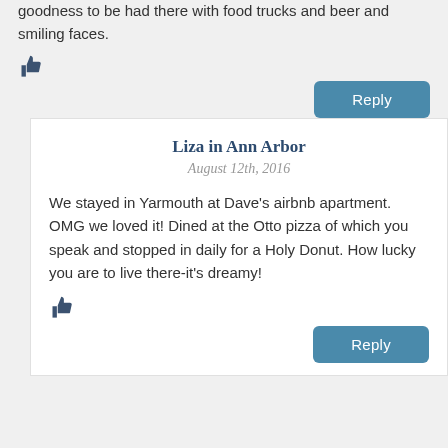goodness to be had there with food trucks and beer and smiling faces.
[Figure (illustration): Thumbs up / like icon (dark blue)]
Reply
Liza in Ann Arbor
August 12th, 2016
We stayed in Yarmouth at Dave's airbnb apartment. OMG we loved it! Dined at the Otto pizza of which you speak and stopped in daily for a Holy Donut. How lucky you are to live there-it's dreamy!
[Figure (illustration): Thumbs up / like icon (dark blue)]
Reply